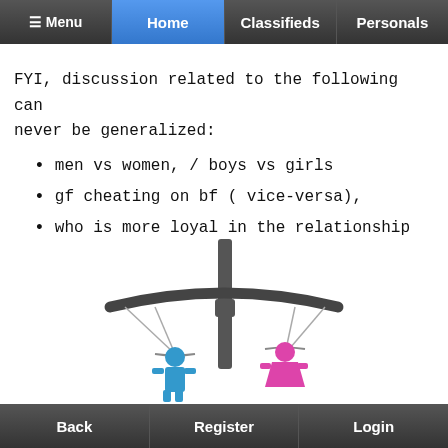≡ Menu | Home | Classifieds | Personals
FYI, discussion related to the following can never be generalized:
men vs women, / boys vs girls
gf cheating on bf ( vice-versa),
who is more loyal in the relationship
[Figure (illustration): A balance scale with a blue male figure icon on the left pan and a pink female figure icon on the right pan]
Back | Register | Login